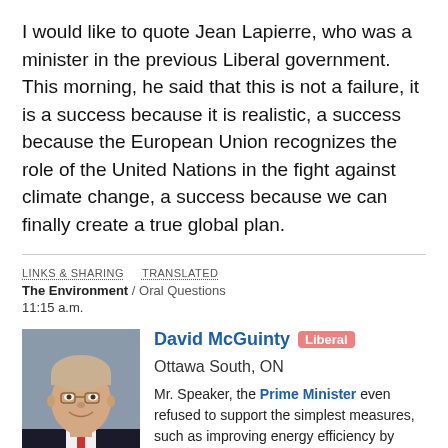I would like to quote Jean Lapierre, who was a minister in the previous Liberal government. This morning, he said that this is not a failure, it is a success because it is realistic, a success because the European Union recognizes the role of the United Nations in the fight against climate change, a success because we can finally create a true global plan.
LINKS & SHARING   TRANSLATED
The Environment / Oral Questions
11:15 a.m.
[Figure (photo): Headshot photo of David McGuinty, a middle-aged man in a suit, smiling]
David McGuinty  Liberal  Ottawa South, ON
Mr. Speaker, the Prime Minister even refused to support the simplest measures, such as improving energy efficiency by 20%.
All of the Prime Minister's photo ops and the Minister of the Environment's self-congratulatory attitude cannot hide the fact that the Prime Minister let down both